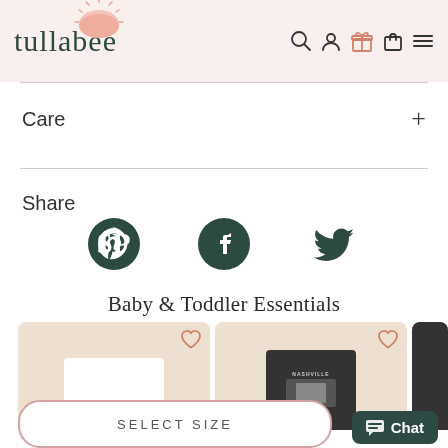[Figure (logo): Tullabee logo with cursive text and sun/mushroom icon on pink background, plus nav icons (search, user, gift, bag, hamburger)]
Care
Share
[Figure (infographic): Three social media icons: Pinterest, Facebook, Twitter, all dark green circles/shapes]
Baby & Toddler Essentials
[Figure (photo): White NSYNC graphic tee on beige/tan background product card with heart icon]
[Figure (photo): Dark Nashville graphic tee on beige background product card with heart icon]
[Figure (photo): Partial third product card, dark item visible]
SELECT SIZE
Chat